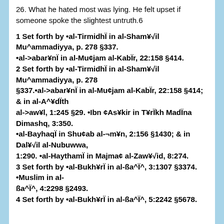26. What he hated most was lying. He felt upset if someone spoke the slightest untruth.6
1 Set forth by •al-TirmidhÏ in al-Sham¥√il Mu^ammadiyya, p. 278 §337. •al->abar¥nÏ in al-Mu¢jam al-KabÏr, 22:158 §414. 2 Set forth by •al-TirmidhÏ in al-Sham¥√il Mu^ammadiyya, p. 278 §337.•al->abar¥nÏ in al-Mu¢jam al-KabÏr, 22:158 §414; & in al-A^¥dÏth al->aw¥l, 1:245 §29. •Ibn ¢As¥kir in T¥rÏkh MadÏna Dimashq, 3:350. •al-BayhaqÏ in Shu¢ab al-¬m¥n, 2:156 §1430; & in Dal¥√il al-Nubuwwa, 1:290. •al-HaythamÏ in Majma¢ al-Zaw¥√id, 8:274. 3 Set forth by •al-Bukh¥rÏ in al-ßa^Ï^, 3:1307 §3374. •Muslim in al-ßa^Ï^, 4:2298 §2493. 4 Set forth by •al-Bukh¥rÏ in al-ßa^Ï^, 5:2242 §5678.